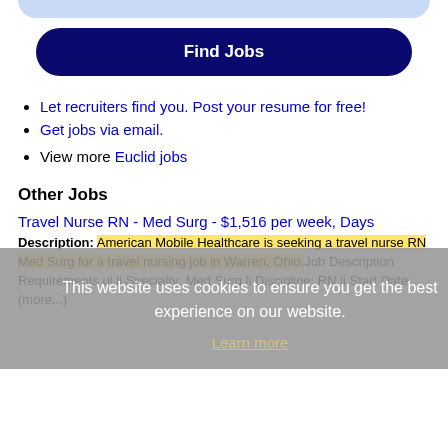[Figure (other): Top blue rounded bar element (partial, top of page)]
[Figure (other): Find Jobs button - dark navy blue rounded rectangle button]
Let recruiters find you. Post your resume for free!
Get jobs via email.
View more Euclid jobs
Other Jobs
Travel Nurse RN - Med Surg - $1,516 per week, Days Description: American Mobile Healthcare is seeking a travel nurse RN Med Surg for a travel nursing job in Warren, Ohio.Job Description Requirements ul li Specialty: Med Surg li Discipline: RN li Start Date: (more...)
This website uses cookies to ensure you get the best experience on our website. Learn more